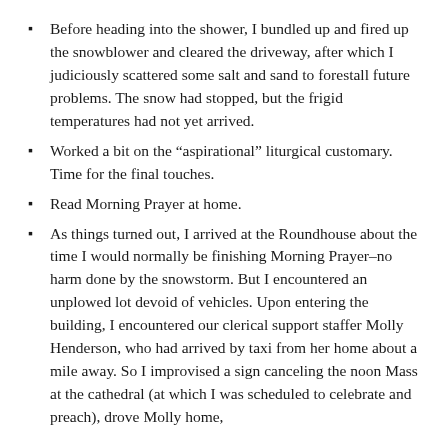Before heading into the shower, I bundled up and fired up the snowblower and cleared the driveway, after which I judiciously scattered some salt and sand to forestall future problems. The snow had stopped, but the frigid temperatures had not yet arrived.
Worked a bit on the “aspirational” liturgical customary. Time for the final touches.
Read Morning Prayer at home.
As things turned out, I arrived at the Roundhouse about the time I would normally be finishing Morning Prayer–no harm done by the snowstorm. But I encountered an unplowed lot devoid of vehicles. Upon entering the building, I encountered our clerical support staffer Molly Henderson, who had arrived by taxi from her home about a mile away. So I improvised a sign canceling the noon Mass at the cathedral (at which I was scheduled to celebrate and preach), drove Molly home,